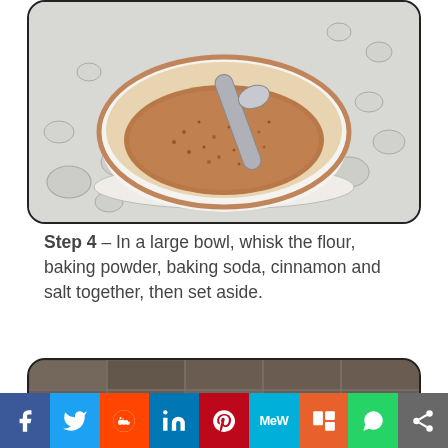[Figure (photo): A white and brown ceramic bowl filled with dry brown granular mixture (flour, baking powder, baking soda, cinnamon, salt) with a metal spoon in it, sitting on a white surface covered with water droplets.]
Step 4 – In a large bowl, whisk the flour, baking powder, baking soda, cinnamon and salt together, then set aside.
[Figure (photo): A kitchen counter with dark brown/taupe ceramic tiles arranged in a grid pattern.]
Facebook Twitter Reddit LinkedIn Pinterest MeWe Mix WhatsApp Share